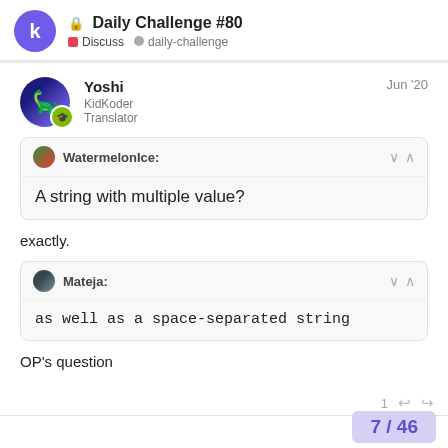🔒 Daily Challenge #80  Discuss  daily-challenge
Yoshi
KidKoder
Translator
Jun '20
WatermelonIce:
A string with multiple value?
exactly.
Mateja:
as well as a space-separated string
OP's question
7 / 46